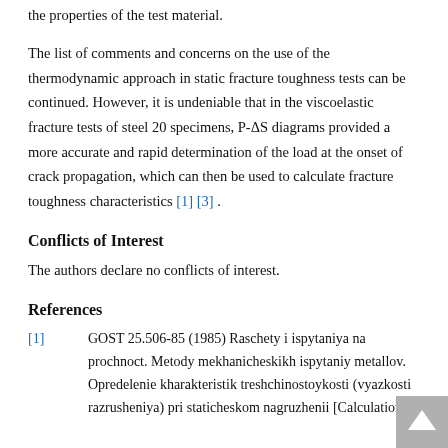the properties of the test material.
The list of comments and concerns on the use of the thermodynamic approach in static fracture toughness tests can be continued. However, it is undeniable that in the viscoelastic fracture tests of steel 20 specimens, P-ΔS diagrams provided a more accurate and rapid determination of the load at the onset of crack propagation, which can then be used to calculate fracture toughness characteristics [1] [3] .
Conflicts of Interest
The authors declare no conflicts of interest.
References
[1]   GOST 25.506-85 (1985) Raschety i ispytaniya na prochnoct. Metody mekhanicheskikh ispytaniy metallov. Opredelenie kharakteristik treshchinostoykosti (vyazkosti razrusheniya) pri staticheskom nagruzhenii [Calculations